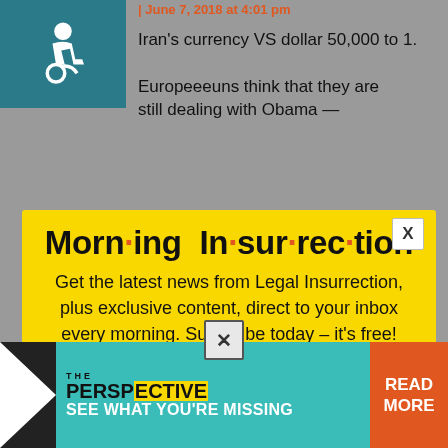[Figure (screenshot): Accessibility icon on teal background, top left corner]
Iran's currency VS dollar 50,000 to 1.
Europeeeuns think that they are still dealing with Obama —
[Figure (infographic): Modal popup with yellow background. Title: Morning Insurrection with orange dots. Text: Get the latest news from Legal Insurrection, plus exclusive content, direct to your inbox every morning. Subscribe today – it's free! Orange JOIN NOW button with envelope icon. X close button in top right.]
little thing, we can keep the pretend agreement in place that Iran never
more tolerable, and we get a little
[Figure (infographic): Bottom ad banner: THE PERSPECTIVE logo in teal, SEE WHAT YOU'RE MISSING text, READ MORE button in orange]